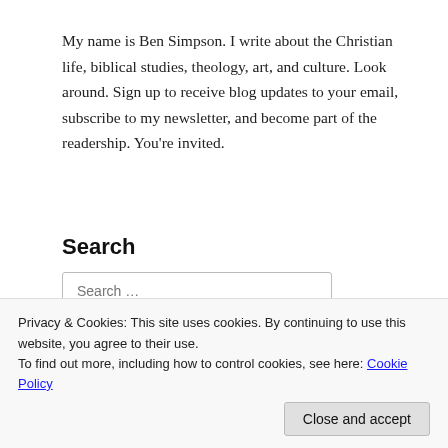My name is Ben Simpson. I write about the Christian life, biblical studies, theology, art, and culture. Look around. Sign up to receive blog updates to your email, subscribe to my newsletter, and become part of the readership. You're invited.
Search
Search …
Sort by: Rel…
Privacy & Cookies: This site uses cookies. By continuing to use this website, you agree to their use.
To find out more, including how to control cookies, see here: Cookie Policy
Close and accept
Enter your email address to follow this blog and receive